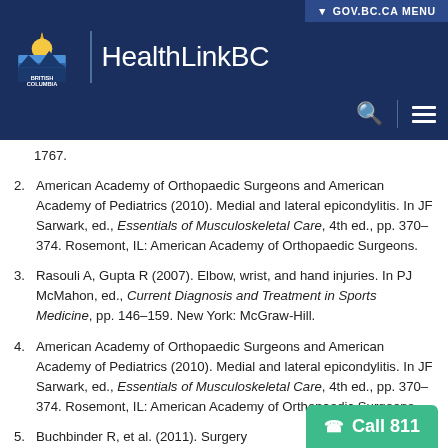GOV.BC.CA MENU | British Columbia HealthLinkBC
1767.
2. American Academy of Orthopaedic Surgeons and American Academy of Pediatrics (2010). Medial and lateral epicondylitis. In JF Sarwark, ed., Essentials of Musculoskeletal Care, 4th ed., pp. 370–374. Rosemont, IL: American Academy of Orthopaedic Surgeons.
3. Rasouli A, Gupta R (2007). Elbow, wrist, and hand injuries. In PJ McMahon, ed., Current Diagnosis and Treatment in Sports Medicine, pp. 146–159. New York: McGraw-Hill.
4. American Academy of Orthopaedic Surgeons and American Academy of Pediatrics (2010). Medial and lateral epicondylitis. In JF Sarwark, ed., Essentials of Musculoskeletal Care, 4th ed., pp. 370–374. Rosemont, IL: American Academy of Orthopaedic Surgeons.
5. Buchbinder R, et al. (2011). Surgery...